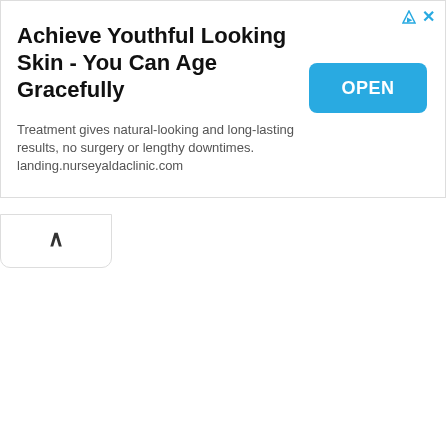[Figure (screenshot): Advertisement banner: 'Achieve Youthful Looking Skin - You Can Age Gracefully' with OPEN button and ad icons]
Achieve Youthful Looking Skin - You Can Age Gracefully
Treatment gives natural-looking and long-lasting results, no surgery or lengthy downtimes. landing.nurseyaldaclinic.com
[Figure (screenshot): Collapse/chevron up button tab below ad banner]